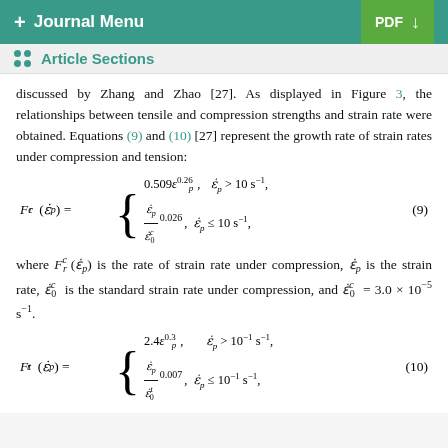+ Journal Menu   PDF ↓
Article Sections
discussed by Zhang and Zhao [27]. As displayed in Figure 3, the relationships between tensile and compression strengths and strain rate were obtained. Equations (9) and (10) [27] represent the growth rate of strain rates under compression and tension:
where F_r^c(\dot{\varepsilon}_p) is the rate of strain rate under compression, \dot{\varepsilon}_p is the strain rate, \dot{\varepsilon}_0^c is the standard strain rate under compression, and \dot{\varepsilon}_0^c = 3.0 × 10^{-5} s^{-1}.